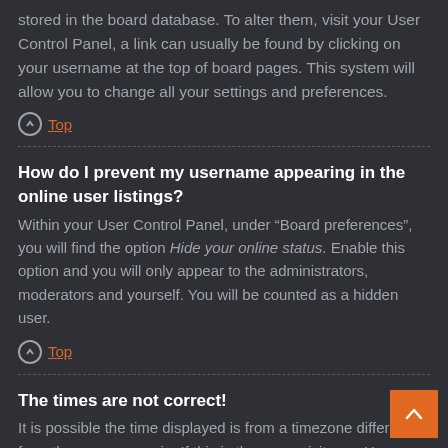stored in the board database. To alter them, visit your User Control Panel, a link can usually be found by clicking on your username at the top of board pages. This system will allow you to change all your settings and preferences.
Top
How do I prevent my username appearing in the online user listings?
Within your User Control Panel, under “Board preferences”, you will find the option Hide your online status. Enable this option and you will only appear to the administrators, moderators and yourself. You will be counted as a hidden user.
Top
The times are not correct!
It is possible the time displayed is from a timezone different from the one you are in. If this is the case, visit your User Control Panel and change your timezone.